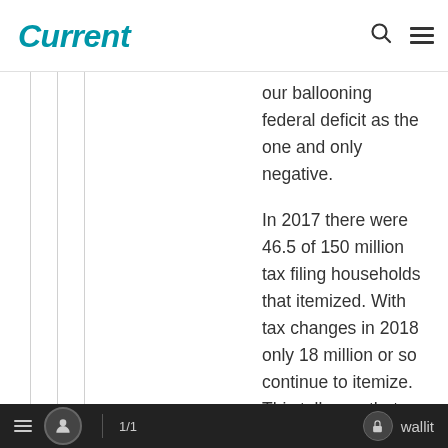Current
our ballooning federal deficit as the one and only negative.

In 2017 there were 46.5 of 150 million tax filing households that itemized. With tax changes in 2018 only 18 million or so continue to itemize. This tells you that those who previously never itemized (70% or 103.5 million households) have definitely benefitted from 2018
1/1   wallit